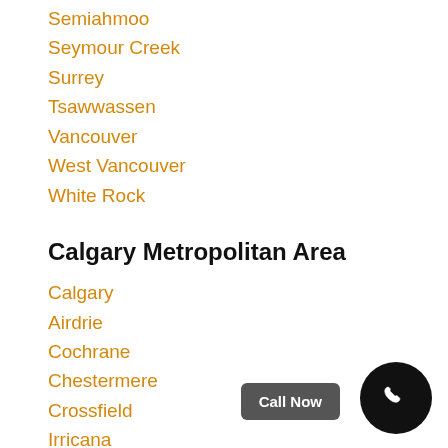Semiahmoo
Seymour Creek
Surrey
Tsawwassen
Vancouver
West Vancouver
White Rock
Calgary Metropolitan Area
Calgary
Airdrie
Cochrane
Chestermere
Crossfield
Irricana
Beiseker
Greater Montreal
Montreal
Laval
Longueuil
Terrebonne